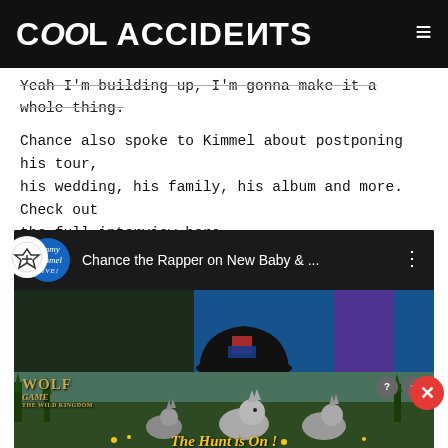Cool Accidents
Yeah I'm building up, I'm gonna make it a whole thing.
Chance also spoke to Kimmel about postponing his tour, his wedding, his family, his album and more. Check out the full interview here.
[Figure (screenshot): YouTube video embed showing 'Chance the Rapper on New Baby & ...' with Jimmy Kimmel Live logo and thumbnail of Chance the Rapper wearing a decorated baseball cap]
[Figure (photo): Advertisement for Wolf Game: The Wild Kingdom showing wolves with text 'THE HUNT IS ON!']